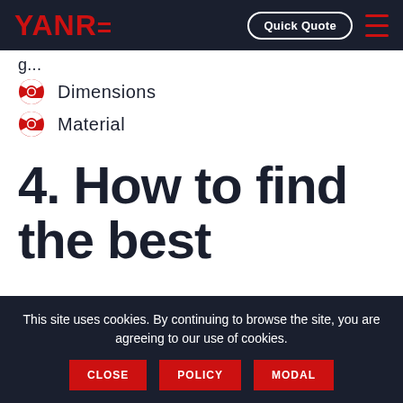YANRE | Quick Quote
Dimensions
Material
4. How to find the best
This site uses cookies. By continuing to browse the site, you are agreeing to our use of cookies.
CLOSE
POLICY
MODAL